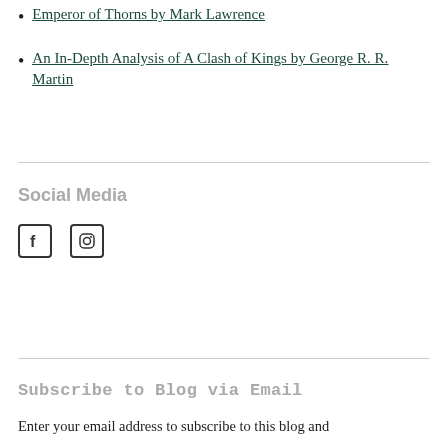Emperor of Thorns by Mark Lawrence
An In-Depth Analysis of A Clash of Kings by George R. R. Martin
Social Media
[Figure (other): Social media icons: Facebook and Instagram]
Subscribe to Blog via Email
Enter your email address to subscribe to this blog and